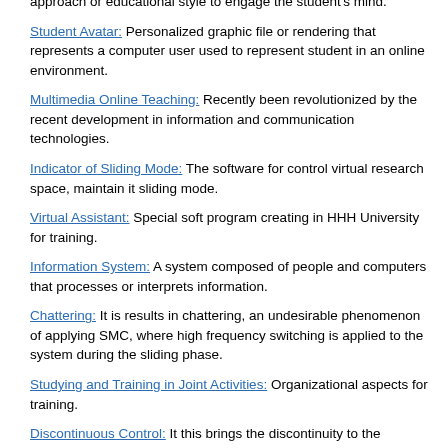approach or educational style to engage the student's mind.
Student Avatar: Personalized graphic file or rendering that represents a computer user used to represent student in an online environment.
Multimedia Online Teaching: Recently been revolutionized by the recent development in information and communication technologies.
Indicator of Sliding Mode: The software for control virtual research space, maintain it sliding mode.
Virtual Assistant: Special soft program creating in HHH University for training.
Information System: A system composed of people and computers that processes or interprets information.
Chattering: It is results in chattering, an undesirable phenomenon of applying SMC, where high frequency switching is applied to the system during the sliding phase.
Studying and Training in Joint Activities: Organizational aspects for training.
Discontinuous Control: It this brings the discontinuity to the control, and the whole nonlinear system.
Researcher Avatar: Personalized graphic file or rendering that represents a computer user used to represent researcher in an online environment.
Learning Goals and Objectives: Joint pedagogical aspects.
Education Technology: Technical, biological and engineering systems for